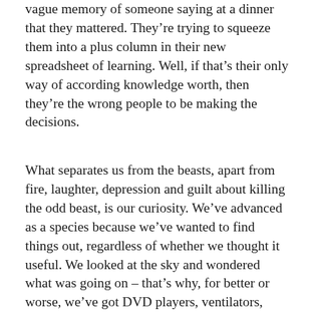vague memory of someone saying at a dinner that they mattered. They're trying to squeeze them into a plus column in their new spreadsheet of learning. Well, if that's their only way of according knowledge worth, then they're the wrong people to be making the decisions.
What separates us from the beasts, apart from fire, laughter, depression and guilt about killing the odd beast, is our curiosity. We've advanced as a species because we've wanted to find things out, regardless of whether we thought it useful. We looked at the sky and wondered what was going on – that's why, for better or worse, we've got DVD players, ventilators, nuclear weapons, global warming, poetry and cheese string